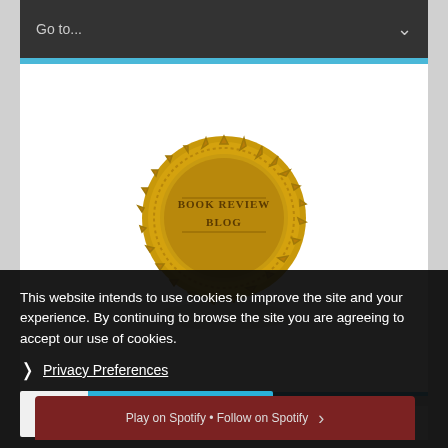[Figure (screenshot): Navigation dropdown bar with 'Go to...' text and chevron on dark background]
[Figure (illustration): Gold badge/seal with text 'BOOK REVIEW BLOG' on white background area]
THINKERVIEWS PODCASTS
[Figure (screenshot): Spotify player bar showing 'Play on Spotify • Follow on Spotify' on dark red background]
This website intends to use cookies to improve the site and your experience. By continuing to browse the site you are agreeing to accept our use of cookies.
Privacy Preferences
[Figure (screenshot): Cookie consent buttons: checkmark button and 'I Agree' button in teal]
SUBSCRIBE TO OUR NEWSLETTER